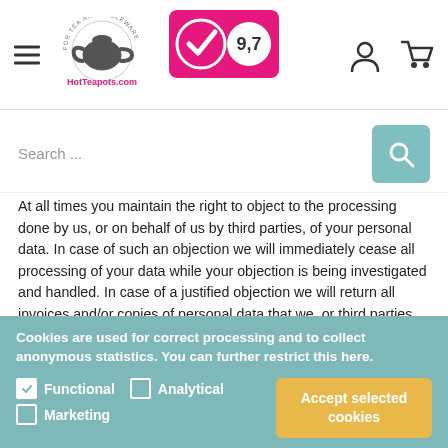[Figure (logo): HotTeapots.com logo with teapot icon and circular text 'FOR TEA AND TABLEWARE']
[Figure (infographic): Pink rating badge with checkmark and score 9,7]
[Figure (other): User account icon and shopping cart icon in header]
Search ...
At all times you maintain the right to object to the processing done by us, or on behalf of us by third parties, of your personal data. In case of such an objection we will immediately cease all processing of your data while your objection is being investigated and handled. In case of a justified objection we will return all invoices and/or copies of personal data that we, or third parties on behalf of us, have processed up until that point and cease processing thereafter. You also maintain the right to not be subject of automated decision-making processes or profiling. We
Cookies are used for correct processing and to collect anonymous statistics. You can further restrict this here.
Functional  Analytical  Marketing
Accept selected cookies